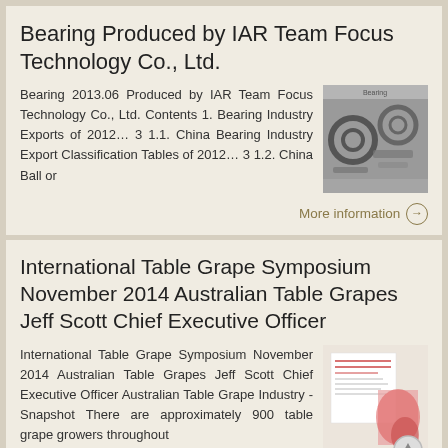Bearing Produced by IAR Team Focus Technology Co., Ltd.
Bearing 2013.06 Produced by IAR Team Focus Technology Co., Ltd. Contents 1. Bearing Industry Exports of 2012… 3 1.1. China Bearing Industry Export Classification Tables of 2012… 3 1.2. China Ball or
[Figure (photo): Thumbnail image of various bearings and mechanical parts]
More information →
International Table Grape Symposium November 2014 Australian Table Grapes Jeff Scott Chief Executive Officer
International Table Grape Symposium November 2014 Australian Table Grapes Jeff Scott Chief Executive Officer Australian Table Grape Industry - Snapshot There are approximately 900 table grape growers throughout
[Figure (photo): Thumbnail image of a document page related to table grapes]